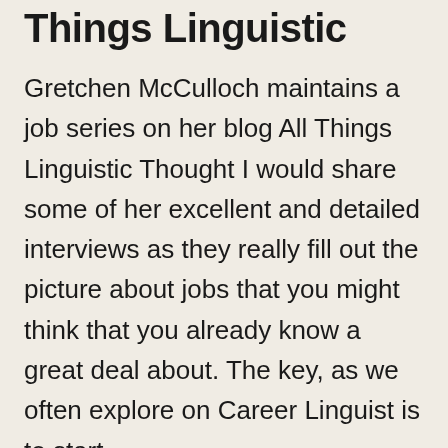Things Linguistic
Gretchen McCulloch maintains a job series on her blog All Things Linguistic Thought I would share some of her excellent and detailed interviews as they really fill out the picture about jobs that you might think that you already know a great deal about. The key, as we often explore on Career Linguist is to start
...